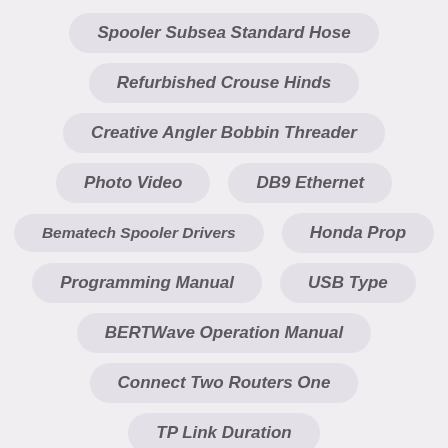Spooler Subsea Standard Hose
Refurbished Crouse Hinds
Creative Angler Bobbin Threader
Photo Video
DB9 Ethernet
Bematech Spooler Drivers
Honda Prop
Programming Manual
USB Type
BERTWave Operation Manual
Connect Two Routers One
TP Link Duration